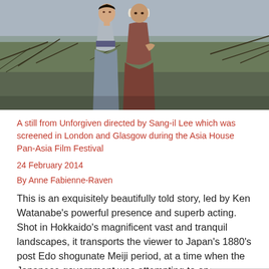[Figure (photo): A film still showing two women in traditional Japanese clothing standing outdoors. One wears a gray kimono and the other wears a white headscarf and brownish-red garment. There is a rural landscape background with bare branches and overcast sky.]
A still from Unforgiven directed by Sang-il Lee which was screened in London and Glasgow during the Asia House Pan-Asia Film Festival
24 February 2014
By Anne Fabienne-Raven
This is an exquisitely beautifully told story, led by Ken Watanabe's powerful presence and superb acting. Shot in Hokkaido's magnificent vast and tranquil landscapes, it transports the viewer to Japan's 1880's post Edo shogunate Meiji period, at a time when the Japanese government was attempting to open up those northern lands...